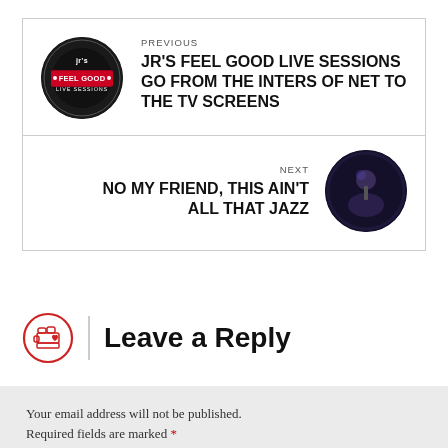[Figure (other): Previous post navigation block with circular logo thumbnail (JR's Feel Good Live Sessions) and post title]
PREVIOUS
JR's FEEL GOOD LIVE SESSIONS GO FROM THE INTERS OF NET TO THE TV SCREENS
[Figure (other): Next post navigation block with circular thumbnail of performer and post title]
NEXT
NO MY FRIEND, THIS AIN'T ALL THAT JAZZ
Leave a Reply
Your email address will not be published. Required fields are marked *
Comment *